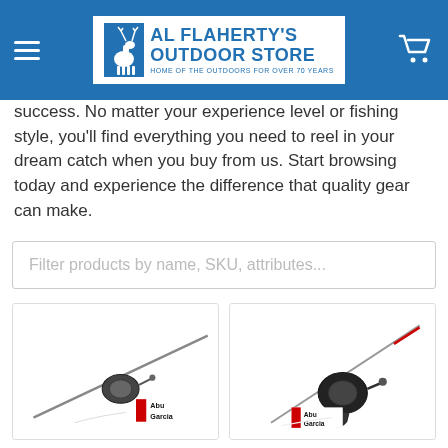Al Flaherty's Outdoor Store — Home of the Outdoors for Over 70 Years
success. No matter your experience level or fishing style, you'll find everything you need to reel in your dream catch when you buy from us. Start browsing today and experience the difference that quality gear can make.
Filter products by name, SKU, attributes...
[Figure (photo): Abu Garcia fishing rod and reel combo product image on white background]
[Figure (photo): Abu Garcia fishing rod and reel combo (red/black) product image on white background]